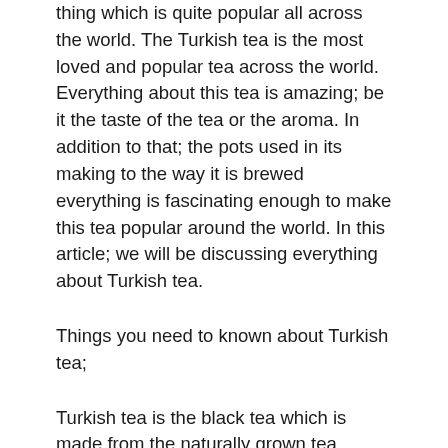thing which is quite popular all across the world. The Turkish tea is the most loved and popular tea across the world. Everything about this tea is amazing; be it the taste of the tea or the aroma. In addition to that; the pots used in its making to the way it is brewed everything is fascinating enough to make this tea popular around the world. In this article; we will be discussing everything about Turkish tea.
Things you need to known about Turkish tea;
Turkish tea is the black tea which is made from the naturally grown tea herbs. As it is naturally grown; so it is quite beneficial for health which is why it has no additives or chemicals in it. Even though; mostly the Turkish tea is made from only the use of tea herbs but sometimes people add other spices and herbs as